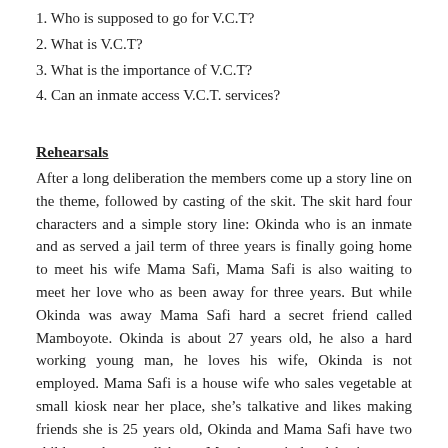1. Who is supposed to go for V.C.T?
2. What is V.C.T?
3. What is the importance of V.C.T?
4. Can an inmate access V.C.T. services?
Rehearsals
After a long deliberation the members come up a story line on the theme, followed by casting of the skit. The skit hard four characters and a simple story line: Okinda who is an inmate and as served a jail term of three years is finally going home to meet his wife Mama Safi, Mama Safi is also waiting to meet her love who as been away for three years. But while Okinda was away Mama Safi hard a secret friend called Mamboyote. Okinda is about 27 years old, he also a hard working young man, he loves his wife, Okinda is not employed. Mama Safi is a house wife who sales vegetable at small kiosk near her place, she’s talkative and likes making friends she is 25 years old, Okinda and Mama Safi have two children who are all boys. Mamboyote is local businessman who owns a well stocked village shop, Maboyote is 30 years old. Since Okinda went to jail he as been helping his family by supplying them with food and any necessary support they needed.
The skit starts with a scene where Mamboyote is demanding payment